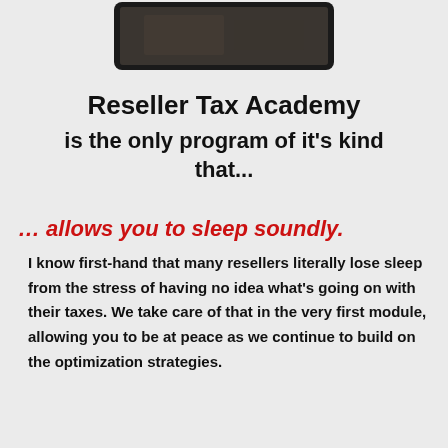[Figure (illustration): Tablet device showing a dark image at the top of the page]
Reseller Tax Academy
is the only program of it's kind that...
… allows you to sleep soundly.
I know first-hand that many resellers literally lose sleep from the stress of having no idea what's going on with their taxes. We take care of that in the very first module, allowing you to be at peace as we continue to build on the optimization strategies.